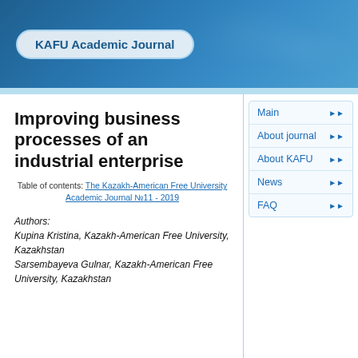KAFU Academic Journal
Improving business processes of an industrial enterprise
Table of contents: The Kazakh-American Free University Academic Journal №11 - 2019
Authors:
Kupina Kristina, Kazakh-American Free University, Kazakhstan
Sarsembayeva Gulnar, Kazakh-American Free University, Kazakhstan
Main
About journal
About KAFU
News
FAQ